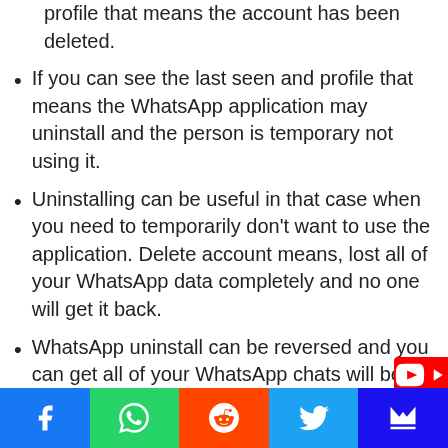profile that means the account has been deleted.
If you can see the last seen and profile that means the WhatsApp application may uninstall and the person is temporary not using it.
Uninstalling can be useful in that case when you need to temporarily don't want to use the application. Delete account means, lost all of your WhatsApp data completely and no one will get it back.
WhatsApp uninstall can be reversed and you can get all of your WhatsApp chats will be back. WhatsApp account delete can't be reversed. Once the account will delete th…